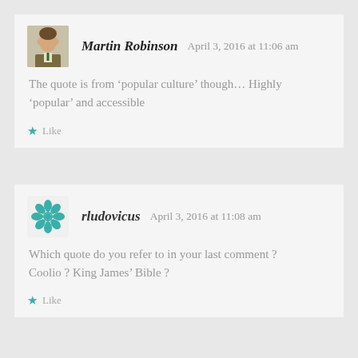Martin Robinson   April 3, 2016 at 11:06 am
The quote is from 'popular culture' though... Highly 'popular' and accessible
Like
rludovicus   April 3, 2016 at 11:08 am
Which quote do you refer to in your last comment ? Coolio ? King James' Bible ?
Like